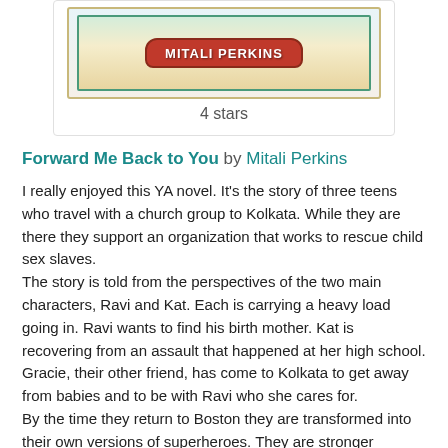[Figure (illustration): Book cover showing 'MITALI PERKINS' in a red banner on a decorative background with teal border]
4 stars
Forward Me Back to You by Mitali Perkins
I really enjoyed this YA novel. It's the story of three teens who travel with a church group to Kolkata. While they are there they support an organization that works to rescue child sex slaves.
The story is told from the perspectives of the two main characters, Ravi and Kat. Each is carrying a heavy load going in. Ravi wants to find his birth mother. Kat is recovering from an assault that happened at her high school. Gracie, their other friend, has come to Kolkata to get away from babies and to be with Ravi who she cares for.
By the time they return to Boston they are transformed into their own versions of superheroes. They are stronger physically and emotionally and have learned to be honest with each other.
I came to care deeply for all these characters. All of them,